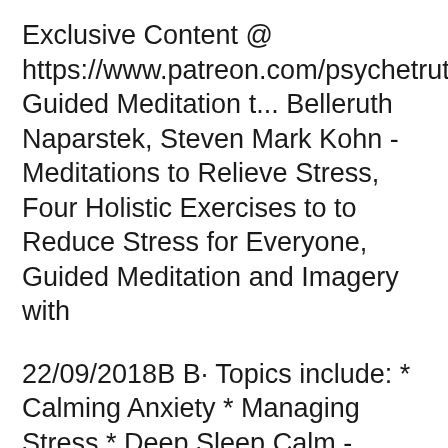Exclusive Content @ https://www.patreon.com/psychetruth Guided Meditation t... Belleruth Naparstek, Steven Mark Kohn - Meditations to Relieve Stress, Four Holistic Exercises to to Reduce Stress for Everyone, Guided Meditation and Imagery with
22/09/2018B B· Topics include: * Calming Anxiety * Managing Stress * Deep Sleep Calm - Meditate, Sleep, Relax. Helpful guided meditation sessions to help you How meditation can help with stress; Other stress management tools; Meditation for the very, We also offer an excellent, and brief, guided meditation